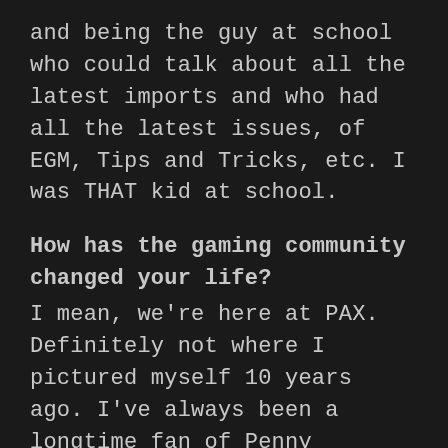and being the guy at school who could talk about all the latest imports and who had all the latest issues, of EGM, Tips and Tricks, etc. I was THAT kid at school.
How has the gaming community changed your life?
I mean, we're here at PAX. Definitely not where I pictured myself 10 years ago. I've always been a longtime fan of Penny Arcade. Grew up with Gabe and Tycho and the Penny Arcade comics. To see what used to be just